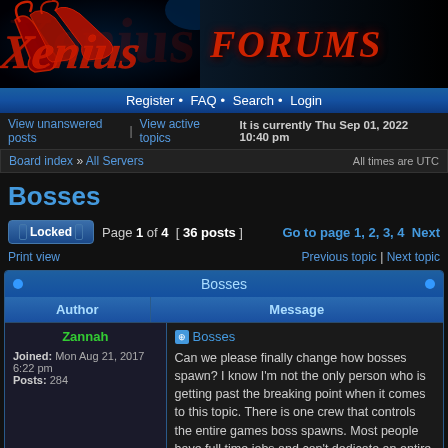[Figure (logo): Xenoius Forums banner with red stylized logo and 'FORUMS' text on dark background]
Register • FAQ • Search • Login
View unanswered posts | View active topics   It is currently Thu Sep 01, 2022 10:40 pm
Board index » All Servers   All times are UTC
Bosses
Locked  Page 1 of 4  [ 36 posts ]   Go to page 1, 2, 3, 4  Next
Print view   Previous topic | Next topic
| Author | Message |
| --- | --- |
| Zannah
Joined: Mon Aug 21, 2017 6:22 pm
Posts: 284 | Bosses
Can we please finally change how bosses spawn? I know I'm not the only person who is getting past the breaking point when it comes to this topic. There is one crew that controls the entire games boss spawns. Most people have full time jobs and can't dedicate an entire day to watching this. |